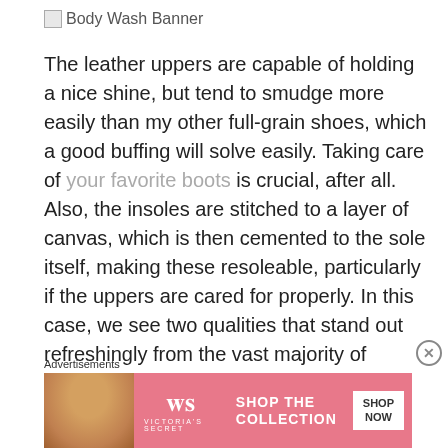Body Wash Banner
The leather uppers are capable of holding a nice shine, but tend to smudge more easily than my other full-grain shoes, which a good buffing will solve easily. Taking care of your favorite boots is crucial, after all. Also, the insoles are stitched to a layer of canvas, which is then cemented to the sole itself, making these resoleable, particularly if the uppers are cared for properly. In this case, we see two qualities that stand out refreshingly from the vast majority of sub-$100 shoes: full grain uppers and resoleability, as opposed to corrected grain uppers and fully
Advertisements
[Figure (infographic): Victoria's Secret advertisement banner showing a woman's photo on left, VS logo in center, 'SHOP THE COLLECTION' text, and 'SHOP NOW' button on pink background]